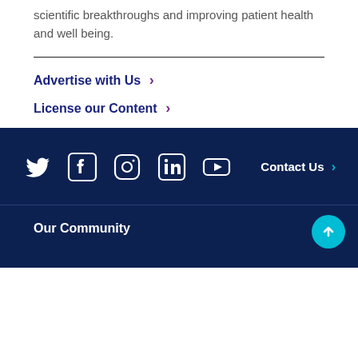scientific breakthroughs and improving patient health and well being.
Advertise with Us ›
License our Content ›
[Figure (infographic): Social media icons row: Twitter, Facebook, Instagram, LinkedIn, YouTube, followed by Contact Us link with arrow. White icons on dark navy background.]
Our Community